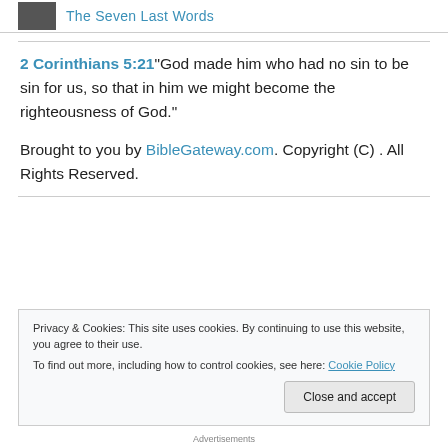The Seven Last Words
2 Corinthians 5:21 "God made him who had no sin to be sin for us, so that in him we might become the righteousness of God."
Brought to you by BibleGateway.com. Copyright (C) . All Rights Reserved.
Privacy & Cookies: This site uses cookies. By continuing to use this website, you agree to their use.
To find out more, including how to control cookies, see here: Cookie Policy
Close and accept
Advertisements